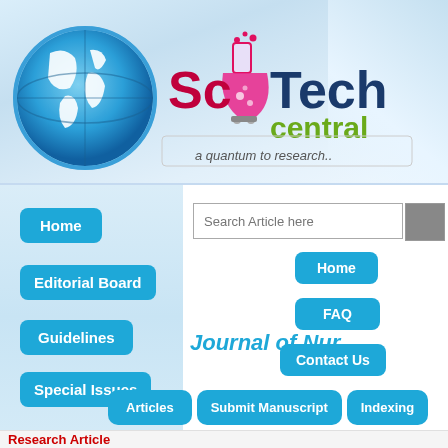[Figure (logo): SciTech Central logo with globe icon, lab flask, text 'Sc Tech central' and tagline 'a quantum to research..']
Home
Editorial Board
Guidelines
Special Issues
Search Article here
Home
FAQ
Contact Us
Journal of Nur
Articles
Submit Manuscript
Indexing
Research Article